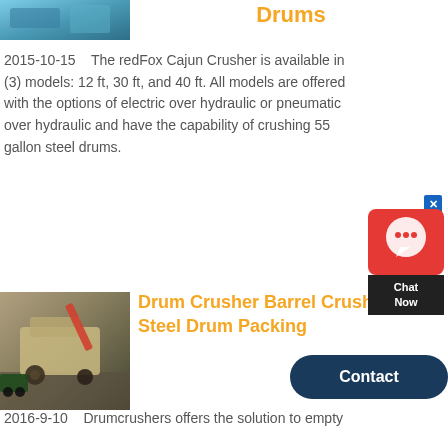[Figure (photo): Partial top image showing industrial machinery or equipment with blue tones, cropped at top of page]
Drums
2015-10-15    The redFox Cajun Crusher is available in (3) models: 12 ft, 30 ft, and 40 ft. All models are offered with the options of electric over hydraulic or pneumatic over hydraulic and have the capability of crushing 55 gallon steel drums.
[Figure (screenshot): Live chat widget with red icon background, headset/chat icon, dark 'Chat Now' label, and blue X close button]
Contact
[Figure (photo): Aerial or elevated photo of a drum crusher / heavy industrial machinery on a construction or industrial site, with a crane arm and truck visible]
Drum Crusher Barrel Crushing Steel Drum Packing
2016-9-10    Drumcrushers offers the solution to empty